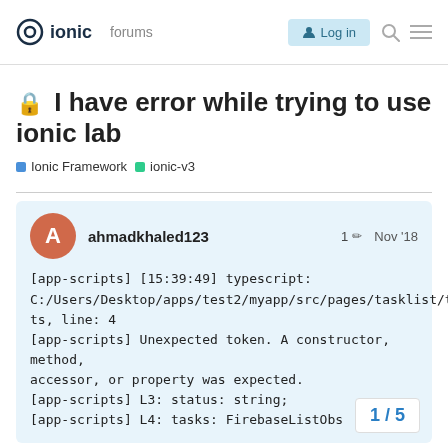ionic forums Log in
🔒 I have error while trying to use ionic lab
Ionic Framework  ionic-v3
ahmadkhaled123  1  Nov '18
[app-scripts] [15:39:49] typescript: C:/Users/Desktop/apps/test2/myapp/src/pages/tasklist/task.ts, line: 4
[app-scripts] Unexpected token. A constructor, method, accessor, or property was expected.
[app-scripts] L3: status: string;
[app-scripts] L4: tasks: FirebaseListObs